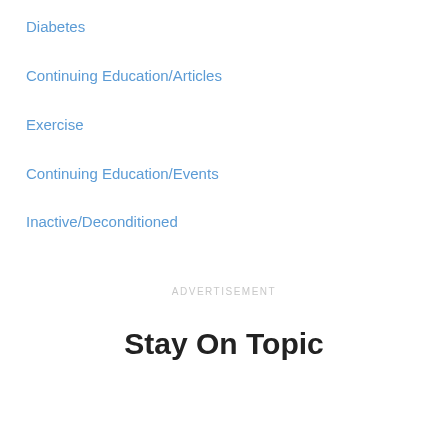Diabetes
Continuing Education/Articles
Exercise
Continuing Education/Events
Inactive/Deconditioned
ADVERTISEMENT
Stay On Topic